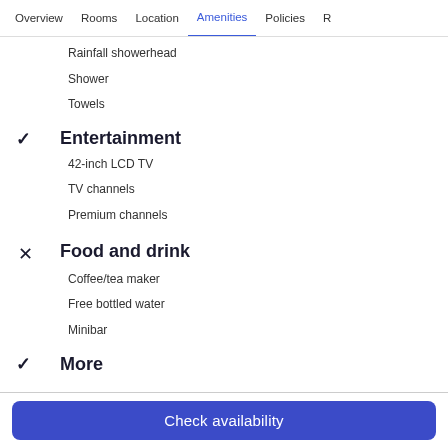Overview | Rooms | Location | Amenities (active) | Policies | R...
Rainfall showerhead
Shower
Towels
✓ Entertainment
42-inch LCD TV
TV channels
Premium channels
✕ Food and drink
Coffee/tea maker
Free bottled water
Minibar
✓ More
Check availability